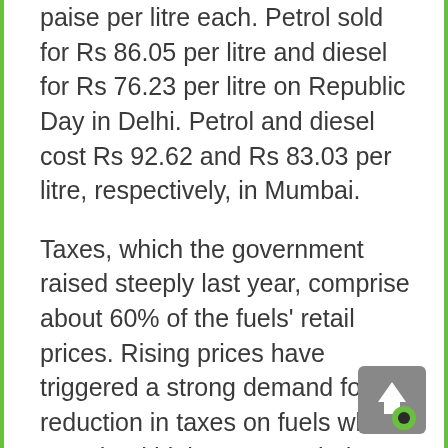paise per litre each. Petrol sold for Rs 86.05 per litre and diesel for Rs 76.23 per litre on Republic Day in Delhi. Petrol and diesel cost Rs 92.62 and Rs 83.03 per litre, respectively, in Mumbai.
Taxes, which the government raised steeply last year, comprise about 60% of the fuels' retail prices. Rising prices have triggered a strong demand for reduction in taxes on fuels whose sustained high rates can induce inflation in the broader economy.